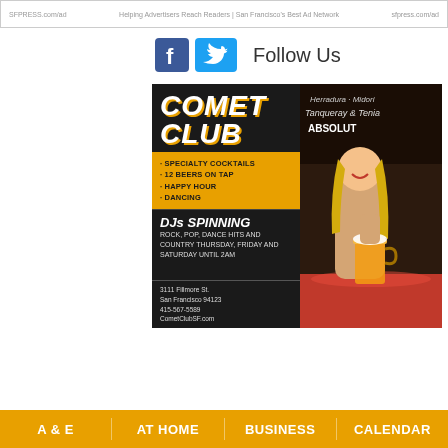SFPRESS.com/ad | Helping Advertisers Reach Readers | San Francisco's Best Ads | sfpress.com/ad
[Figure (logo): Facebook logo icon (blue square with white f)]
[Figure (logo): Twitter bird logo icon (blue bird)]
Follow Us
[Figure (infographic): Comet Club advertisement. Left side dark background: Title 'COMET CLUB' in bold italic white with gold shadow. Yellow section with bullet points: SPECIALTY COCKTAILS, 12 BEERS ON TAP, HAPPY HOUR, DANCING. Dark section: DJs SPINNING in bold italic white, then ROCK, POP, DANCE HITS AND COUNTRY THURSDAY, FRIDAY AND SATURDAY UNTIL 2AM. Contact: 3111 Fillmore St., San Francisco 94123, 415-567-5589, CometClubSF.com. Right side: photo of smiling blonde woman holding beer mug at bar with liquor bottle signs in background (Tanqueray, Absolut, Midori, Herradura).]
A & E   At Home   Business   Calendar